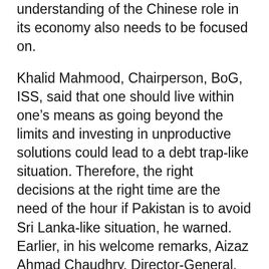understanding of the Chinese role in its economy also needs to be focused on.
Khalid Mahmood, Chairperson, BoG, ISS, said that one should live within one’s means as going beyond the limits and investing in unproductive solutions could lead to a debt trap-like situation. Therefore, the right decisions at the right time are the need of the hour if Pakistan is to avoid Sri Lanka-like situation, he warned. Earlier, in his welcome remarks, Aizaz Ahmad Chaudhry, Director-General, ISS, said that what is happening in Sri Lanka is a sad situation but the good thing coming out is that the Sri Lankan government is taking up the challenge and not shying away from the problem which is a step in the right direction.